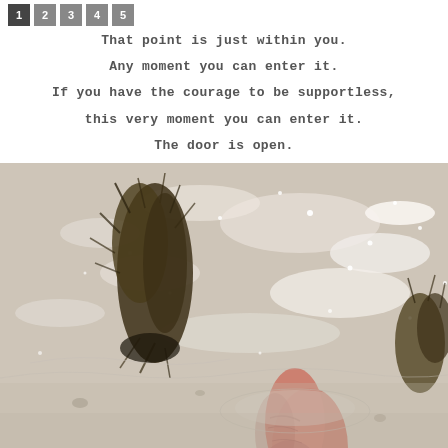1 2 3 4 5
That point is just within you.
Any moment you can enter it.
If you have the courage to be supportless,
this very moment you can enter it.
The door is open.
[Figure (photo): A photograph showing a hand touching shallow water with aquatic moss/seaweed visible on a sandy or muddy bottom, with light reflecting on the water surface.]